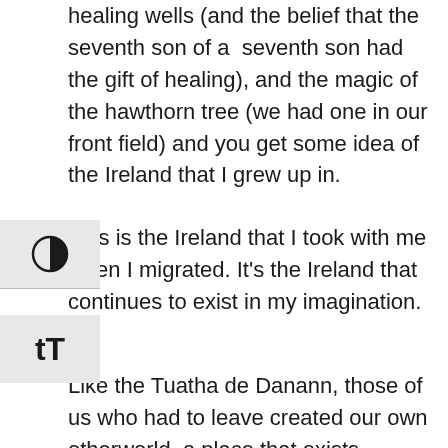healing wells (and the belief that the seventh son of a  seventh son had the gift of healing), and the magic of the hawthorn tree (we had one in our front field) and you get some idea of the Ireland that I grew up in.
This is the Ireland that I took with me when I migrated. It's the Ireland that continues to exist in my imagination.
Like the Tuatha de Danann, those of us who had to leave created our own otherworld, a place that exists somewhere between Ireland and America, and involves living in one place but having a sense of belonging to another.